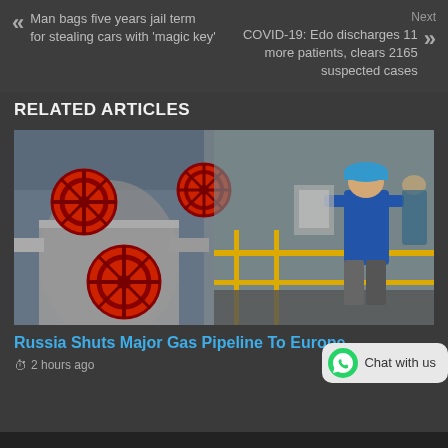Man bags five years jail term for stealing cars with 'magic key'
Next COVID-19: Edo discharges 11 more patients, clears 2165 suspected cases
RELATED ARTICLES
[Figure (photo): Industrial gas pipeline with large red valve wheels and a worker in blue hard hat and jacket inspecting equipment]
Russia Shuts Major Gas Pipeline To Europe
2 hours ago